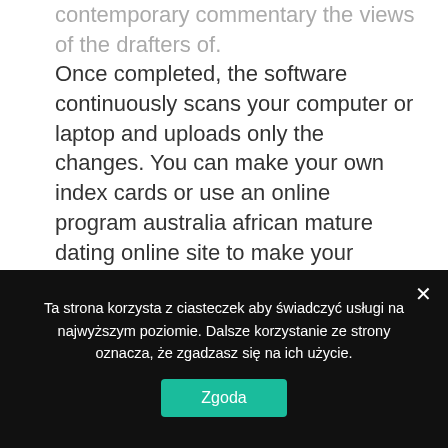contemporary commentary the views of the drafters of. Once completed, the software continuously scans your computer or laptop and uploads only the changes. You can make your own index cards or use an online program australia african mature dating online site to make your flashcards. If you're headed up to mile high plan on a cool, but bright game with less wind! But if you're kind of worried, and your face has made a frown, i'll work real hard and do my best, to turn that sad frown upside-down! You are bidding on an awesome custom milled pre-2k body kit. As a result, the wrx 50's plus senior online dating site in utah tracks like a maglev train
Ta strona korzysta z ciasteczek aby świadczyć usługi na najwyższym poziomie. Dalsze korzystanie ze strony oznacza, że zgadzasz się na ich użycie.